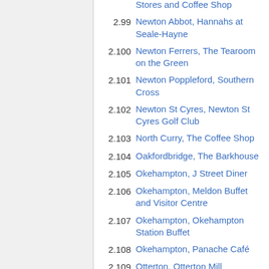2.99 Newton Abbot, Hannahs at Seale-Hayne
2.100 Newton Ferrers, The Tearoom on the Green
2.101 Newton Poppleford, Southern Cross
2.102 Newton St Cyres, Newton St Cyres Golf Club
2.103 North Curry, The Coffee Shop
2.104 Oakfordbridge, The Barkhouse
2.105 Okehampton, J Street Diner
2.106 Okehampton, Meldon Buffet and Visitor Centre
2.107 Okehampton, Okehampton Station Buffet
2.108 Okehampton, Panache Café
2.109 Otterton, Otterton Mill